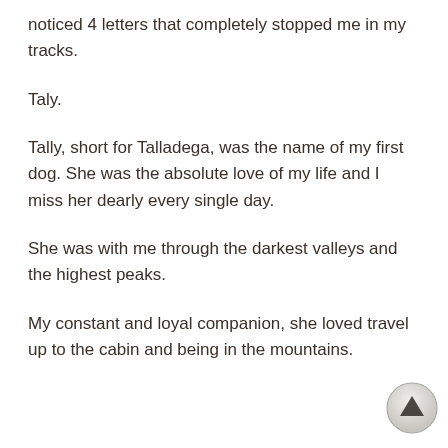noticed 4 letters that completely stopped me in my tracks.
Taly.
Tally, short for Talladega, was the name of my first dog. She was the absolute love of my life and I miss her dearly every single day.
She was with me through the darkest valleys and the highest peaks.
My constant and loyal companion, she loved travel up to the cabin and being in the mountains.
[Figure (other): Scroll-to-top button: circular button with an upward-pointing triangle arrow, positioned at bottom-right corner]